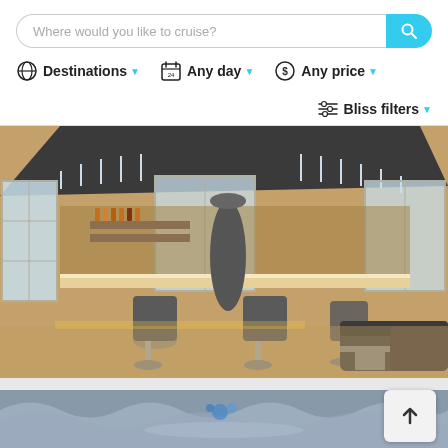[Figure (screenshot): Cruise search UI with search bar, filter dropdowns (Destinations, Any day, Any price, Bliss filters), a large photo of a luxury cruise ship bar/lounge interior, and a partially visible second image below with an upload button.]